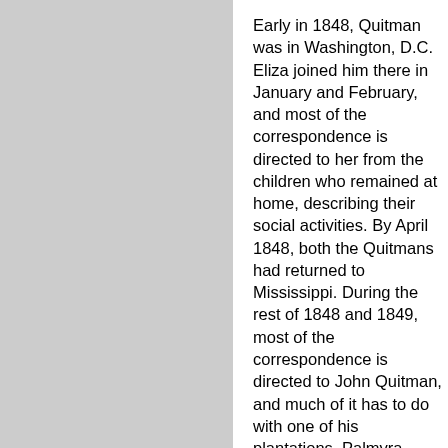[Figure (photo): Gray rectangle occupying the left half of the page, representing an image placeholder.]
Early in 1848, Quitman was in Washington, D.C. Eliza joined him there in January and February, and most of the correspondence is directed to her from the children who remained at home, describing their social activities. By April 1848, both the Quitmans had returned to Mississippi. During the rest of 1848 and 1849, most of the correspondence is directed to John Quitman, and much of it has to do with one of his plantations, Palmyra, which continued to be run by Henry Turner, brother of